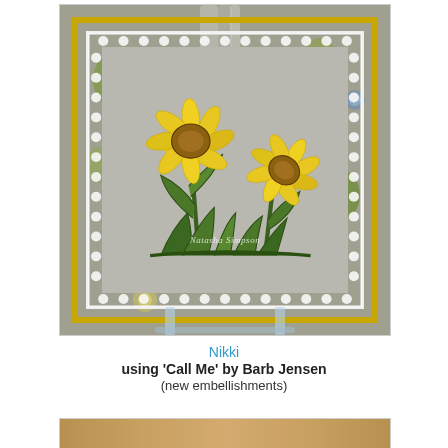[Figure (photo): A handmade greeting card displayed on an acrylic stand. The card features two yellow daisy/coneflower blooms with green stems and leaves on a gray background, framed with a white decorative heart lace border. The card is layered over a yellow border and a gray floral patterned background. A watermark reading 'Natasha Simpson' is visible. The display is inside a clear acrylic frame with white decorative corner embellishments.]
Nikki
using 'Call Me' by Barb Jensen
(new embellishments)
[Figure (photo): Bottom portion of another card or craft project, partially visible at the bottom of the page.]